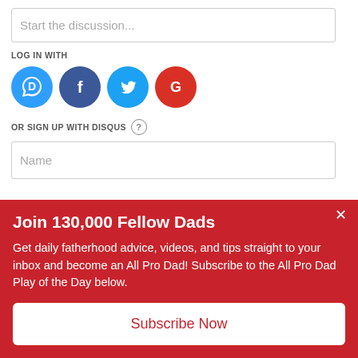Start the discussion...
LOG IN WITH
[Figure (other): Social login icons: Disqus (blue), Facebook (dark blue), Twitter (light blue), Google (red)]
OR SIGN UP WITH DISQUS ?
Name
Join 130,000 Fellow Dads
Get daily fatherhood advice, videos, and tips straight to your inbox and become an All Pro Dad! Subscribe to the All Pro Dad Play of the Day below.
Subscribe Now